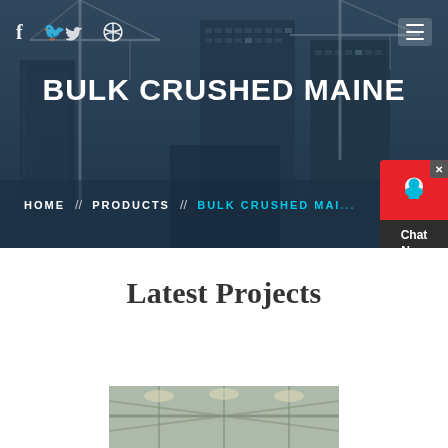[Figure (photo): Hero banner showing construction site with cranes and buildings against a dark blue sky overlay]
BULK CRUSHED MAINE
HOME // PRODUCTS // BULK CRUSHED MAI...
Latest Projects
[Figure (photo): Construction interior photo showing steel structure]